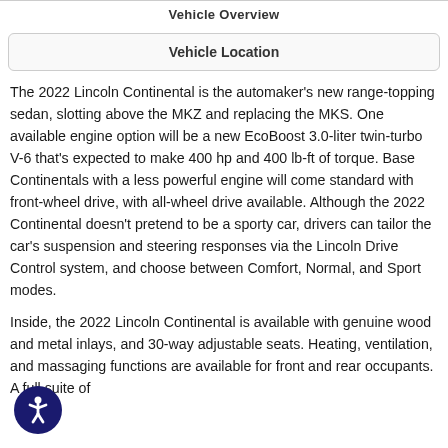Vehicle Overview
Vehicle Location
The 2022 Lincoln Continental is the automaker's new range-topping sedan, slotting above the MKZ and replacing the MKS. One available engine option will be a new EcoBoost 3.0-liter twin-turbo V-6 that's expected to make 400 hp and 400 lb-ft of torque. Base Continentals with a less powerful engine will come standard with front-wheel drive, with all-wheel drive available. Although the 2022 Continental doesn't pretend to be a sporty car, drivers can tailor the car's suspension and steering responses via the Lincoln Drive Control system, and choose between Comfort, Normal, and Sport modes.
Inside, the 2022 Lincoln Continental is available with genuine wood and metal inlays, and 30-way adjustable seats. Heating, ventilation, and massaging functions are available for front and rear occupants. A full suite of